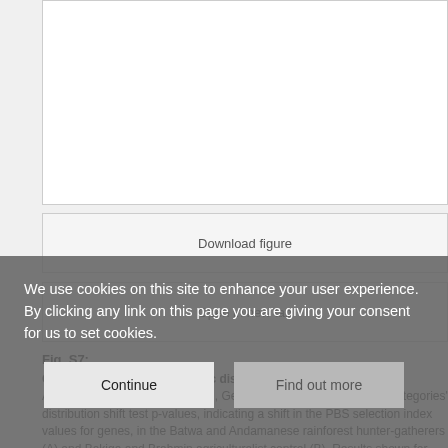[Figure (other): White figure area (top portion of a figure, content not visible)]
Download figure
Open in new tab
Fig. S7:
Gene size-corrected polygenic distribution shift test results.
After gene size-based correction, Gene Ontology (GO) functional categories' distribution shift test p-values, indicating a shift in the PBS selection index values for genes, in the Batwa and Andamanese rainforest hunter-gatherers (A) and Bakiga and Brahmin agriculturalist control (B). Results shown for GO
We use cookies on this site to enhance your user experience. By clicking any link on this page you are giving your consent for us to set cookies.
Continue
Find out more